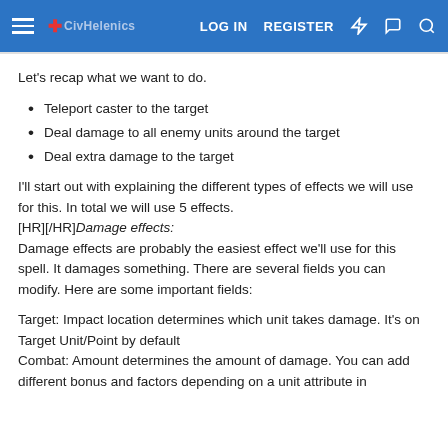LOG IN  REGISTER
Let's recap what we want to do.
Teleport caster to the target
Deal damage to all enemy units around the target
Deal extra damage to the target
I'll start out with explaining the different types of effects we will use for this. In total we will use 5 effects.
[HR][/HR]Damage effects:
Damage effects are probably the easiest effect we'll use for this spell. It damages something. There are several fields you can modify. Here are some important fields:
Target: Impact location determines which unit takes damage. It's on Target Unit/Point by default
Combat: Amount determines the amount of damage. You can add different bonus and factors depending on a unit attribute in